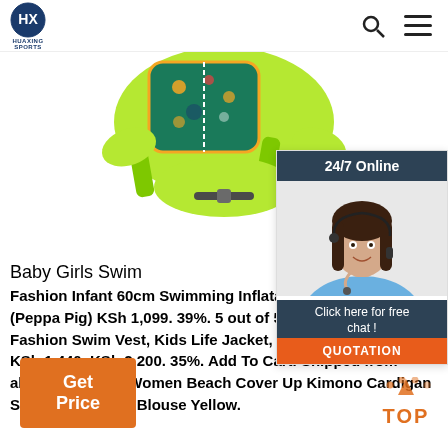HUAXING SPORTS
[Figure (photo): Child swim vest / inflatable swim ring product photo showing green neoprene swim vest with orange-bordered teal printed front panel, green straps, on white background]
[Figure (photo): 24/7 Online chat widget with dark blue header reading '24/7 Online', photo of smiling female customer service agent with headset, 'Click here for free chat!' text, and orange QUOTATION button]
Baby Girls Swim
Fashion Infant 60cm Swimming Inflatable Seat Ring Float (Peppa Pig) KSh 1,099. 39%. 5 out of 5 (2) Add To Cart. Fashion Swim Vest, Kids Life Jacket, Swimming Goggles. KSh 1,440. KSh 2,200. 35%. Add To Cart. Shipped from abroad. Generic Women Beach Cover Up Kimono Cardigan Swimsuit Chiffon Blouse Yellow.
Get Price